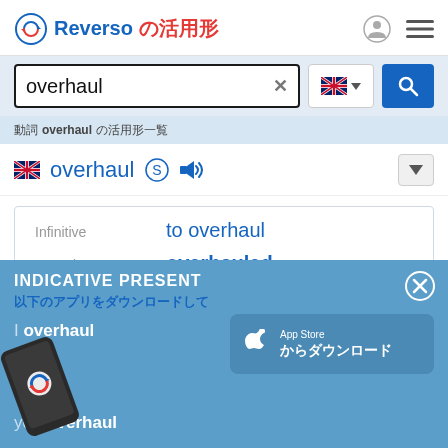Reverso の活用形
overhaul ×
動詞 overhaul の活用形一覧
overhaul
| Form | Value |
| --- | --- |
| Infinitive | to overhaul |
| Preterite | overhauled |
| Past participle | overhauled |
INDICATIVE PRESENT
以下のアプリをダウンロードして
I overhaul
you overhaul
he/it overhauls